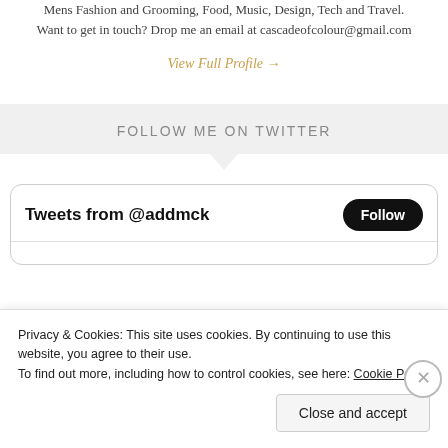Mens Fashion and Grooming, Food, Music, Design, Tech and Travel. Want to get in touch? Drop me an email at cascadeofcolour@gmail.com
View Full Profile →
FOLLOW ME ON TWITTER
Tweets from @addmck
Privacy & Cookies: This site uses cookies. By continuing to use this website, you agree to their use.
To find out more, including how to control cookies, see here: Cookie Policy
Close and accept